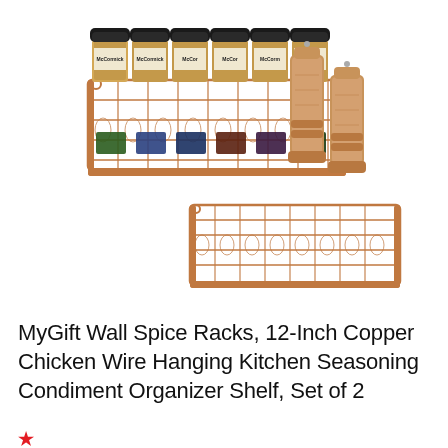[Figure (photo): Two copper chicken wire spice racks. Top rack holds six McCormick spice jars. Bottom rack holds two tall wooden pepper/salt mills. Both racks have a hexagonal chicken wire pattern in copper finish.]
MyGift Wall Spice Racks, 12-Inch Copper Chicken Wire Hanging Kitchen Seasoning Condiment Organizer Shelf, Set of 2